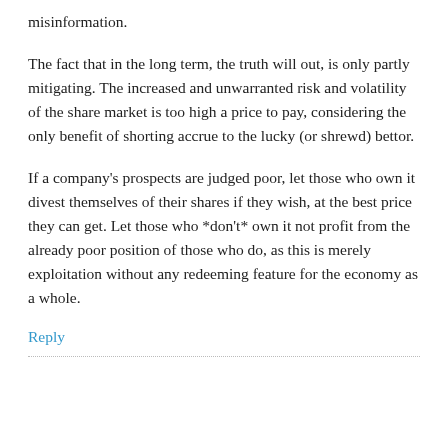misinformation.
The fact that in the long term, the truth will out, is only partly mitigating. The increased and unwarranted risk and volatility of the share market is too high a price to pay, considering the only benefit of shorting accrue to the lucky (or shrewd) bettor.
If a company's prospects are judged poor, let those who own it divest themselves of their shares if they wish, at the best price they can get. Let those who *don't* own it not profit from the already poor position of those who do, as this is merely exploitation without any redeeming feature for the economy as a whole.
Reply